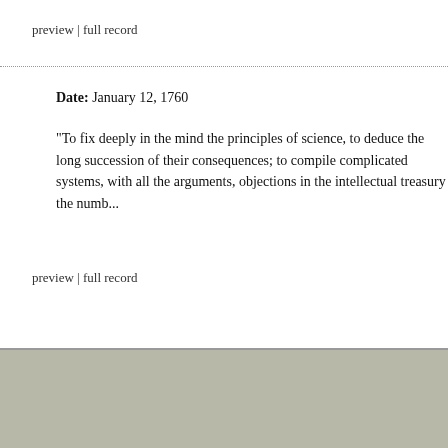preview | full record
Date: January 12, 1760
"To fix deeply in the mind the principles of science, to deduce the long succession of their consequences; to compile complicated systems, with all the arguments, objections in the intellectual treasury the numb...
preview | full record
The Mind is a Metaphor is authored by Brad Pasanek, Assistant Professor of English, University of Virginia. This v Subscr